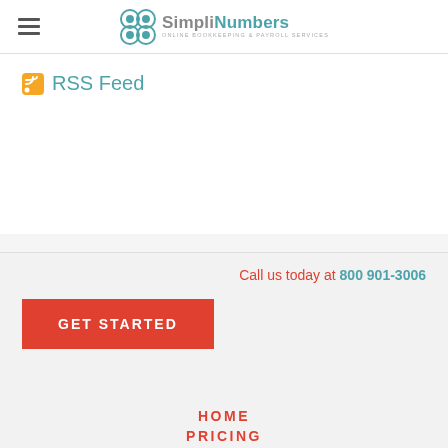SimpliNumbers — ONLINE BOOKKEEPING & PAYROLL SERVICES
RSS Feed
Call us today at 800 901-3006
GET STARTED
HOME
PRICING